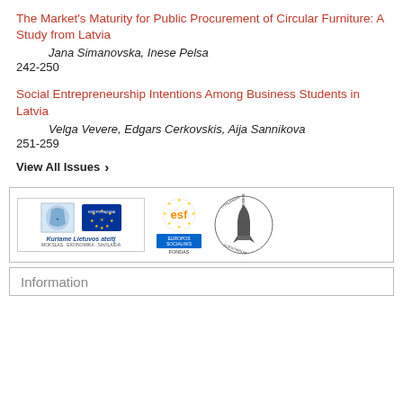The Market's Maturity for Public Procurement of Circular Furniture: A Study from Latvia
Jana Simanovska, Inese Pelsa
242-250
Social Entrepreneurship Intentions Among Business Students in Latvia
Velga Vevere, Edgars Cerkovskis, Aija Sannikova
251-259
View All Issues ›
[Figure (logo): Logos: Kuriame Lietuvos ateitį (with EU flag and national emblem), ESF Europos Socialinis Fondas, Academia Scientiarum Lithuaniae]
Information